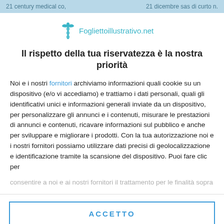21 century medical co,      21 dicembre sas di curto n.
[Figure (logo): Foglietto Illustrativo logo with caduceus medical symbol and text 'Fogliettoillustrativo.net' in teal/blue]
Il rispetto della tua riservatezza è la nostra priorità
Noi e i nostri fornitori archiviamo informazioni quali cookie su un dispositivo (e/o vi accediamo) e trattiamo i dati personali, quali gli identificativi unici e informazioni generali inviate da un dispositivo, per personalizzare gli annunci e i contenuti, misurare le prestazioni di annunci e contenuti, ricavare informazioni sul pubblico e anche per sviluppare e migliorare i prodotti. Con la tua autorizzazione noi e i nostri fornitori possiamo utilizzare dati precisi di geolocalizzazione e identificazione tramite la scansione del dispositivo. Puoi fare clic per consentire a noi e ai nostri fornitori il trattamento per le finalità sopra
ACCETTO
PIÙ OPZIONI